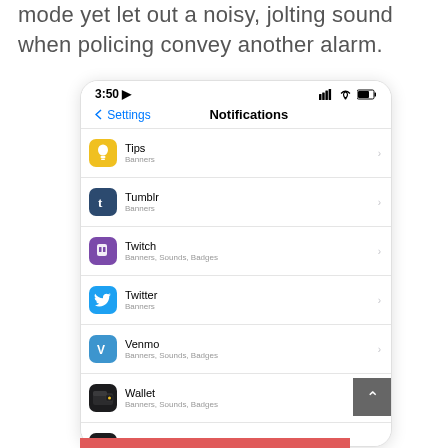mode yet let out a noisy, jolting sound when policing convey another alarm.
[Figure (screenshot): iPhone screenshot showing iOS Settings > Notifications screen with a list of apps: Tips (Banners), Tumblr (Banners), Twitch (Banners, Sounds, Badges), Twitter (Banners), Venmo (Banners, Sounds, Badges), Wallet (Banners, Sounds, Badges), Watch (Banners, Sounds, Badges), Waze (Banners, Sounds, Badges), YouTube (partially visible). Status bar shows 3:50 and battery/signal icons.]